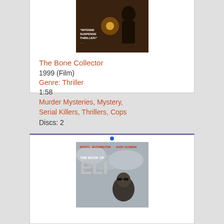[Figure (photo): Movie poster thumbnail for The Bone Collector showing dark thriller imagery with text 'INTENSE SUSPENSE THRILLER!']
The Bone Collector
1999 (Film)
Genre: Thriller
1:58
Murder Mysteries, Mystery, Serial Killers, Thrillers, Cops
Discs: 2
[Figure (photo): Movie cover for The Book of Eli (Blu-ray) featuring Denzel Washington and Gary Oldman. Shows the title with large ELI text and a figure wearing sunglasses.]